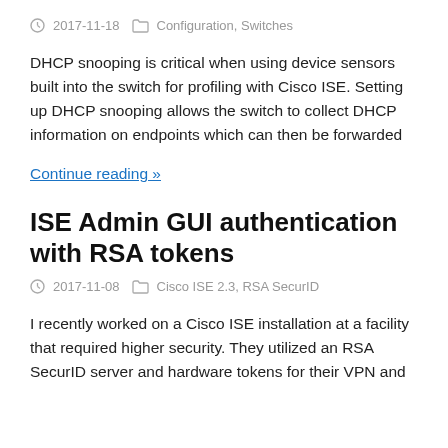2017-11-18  Configuration, Switches
DHCP snooping is critical when using device sensors built into the switch for profiling with Cisco ISE. Setting up DHCP snooping allows the switch to collect DHCP information on endpoints which can then be forwarded
Continue reading »
ISE Admin GUI authentication with RSA tokens
2017-11-08  Cisco ISE 2.3, RSA SecurID
I recently worked on a Cisco ISE installation at a facility that required higher security. They utilized an RSA SecurID server and hardware tokens for their VPN and